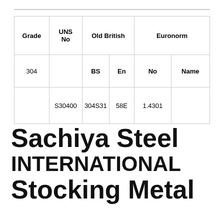| Grade | UNS No | Old British BS | Old British En | Euronorm No | Euronorm Name |
| --- | --- | --- | --- | --- | --- |
| 304 |  | BS | En | No | Name |
|  | S30400 | 304S31 | 58E | 1.4301 |  |
Sachiya Steel INTERNATIONAL Stocking Metal